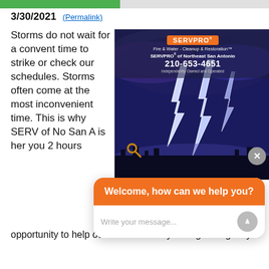3/30/2021 (Permalink)
Storms do not wait for a convent time to strike or check our schedules. Storms often come at the most inconvenient time. This is why SERVPRO of Northeast San Antonio is here for you 24 hours
[Figure (photo): SERVPRO advertisement with lightning storm background. Shows SERVPRO logo, 'Fire & Water - Cleanup & Restoration', 'SERVPRO of Northeast San Antonio', phone number 210-653-4651, and 'Independently Owned and Operated'. Background shows dramatic lightning storm at night.]
Whenever you need SERVPRO of
opportunity to help out our community during emergency
Welcome, how can we help you?
Write your message...